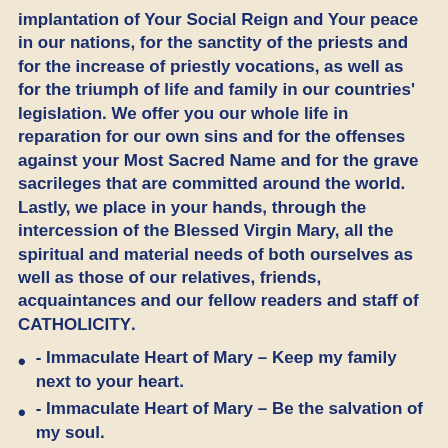implantation of Your Social Reign and Your peace in our nations, for the sanctity of the priests and for the increase of priestly vocations, as well as for the triumph of life and family in our countries' legislation. We offer you our whole life in reparation for our own sins and for the offenses against your Most Sacred Name and for the grave sacrileges that are committed around the world. Lastly, we place in your hands, through the intercession of the Blessed Virgin Mary, all the spiritual and material needs of both ourselves as well as those of our relatives, friends, acquaintances and our fellow readers and staff of CATHOLICITY.
- Immaculate Heart of Mary – Keep my family next to your heart.
- Immaculate Heart of Mary – Be the salvation of my soul.
- Blessed Virgin of Guadalupe – Save our